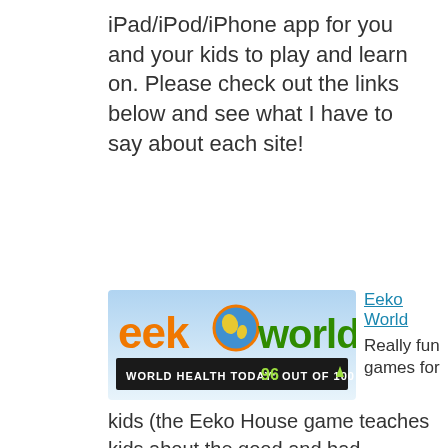iPad/iPod/iPhone app for you and your kids to play and learn on. Please check out the links below and see what I have to say about each site!
[Figure (logo): Eeko World logo — colorful banner with orange 'eeko' text, globe icon, green 'world' text, and black bar reading 'WORLD HEALTH TODAY: 96 OUT OF 100' with upward arrow]
Eeko World
Really fun games for kids (the Eeko House game teaches kids about the good and bad household items in their own homes).
[Figure (logo): Fieldtrip logo — blue background with white silhouettes of animals (elephant, giraffe, rhino) on a green globe]